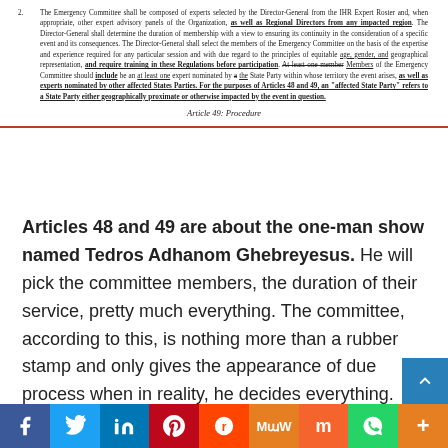2. The Emergency Committee shall be composed of experts selected by the Director-General from the IHR Expert Roster and, when appropriate, other expert advisory panels of the Organization, as well as Regional Directors from any impacted region. The Director-General shall determine the duration of membership with a view to ensuring its continuity in the consideration of a specific event and its consequences. The Director-General shall select the members of the Emergency Committee on the basis of the expertise and experience required for any particular session and with due regard to the principles of equitable age, gender, and geographical representation, and require training in these Regulations before participation. At least one member Members of the Emergency Committee should include be an at least one expert nominated by a the State Party within whose territory the event arises, as well as experts nominated by other affected States Parties. For the purposes of Articles 48 and 49, an "affected State Party" refers to a State Party either geographically proximate or otherwise impacted by the event in question.
Article 49: Procedure
Articles 48 and 49 are about the one-man show named Tedros Adhanom Ghebreyesus. He will pick the committee members, the duration of their service, pretty much everything. The committee, according to this, is nothing more than a rubber stamp and only gives the appearance of due process when in reality, he decides everything.